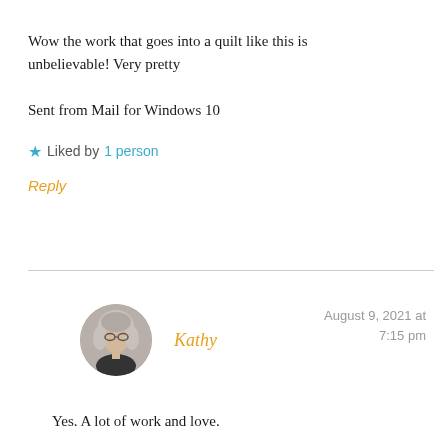Wow the work that goes into a quilt like this is unbelievable! Very pretty
Sent from Mail for Windows 10
★ Liked by 1 person
Reply
Kathy
August 9, 2021 at 7:15 pm
[Figure (photo): Circular avatar photo of a woman with gray hair and glasses]
Yes. A lot of work and love.